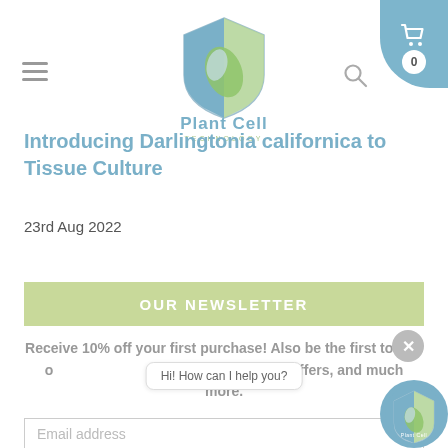[Figure (logo): Plant Cell Technology shield logo with blue and green sections and leaf graphic, with text 'Plant Cell TECHNOLOGY' below]
Introducing Darlingtonia californica to Tissue Culture
23rd Aug 2022
OUR NEWSLETTER
Receive 10% off your first purchase! Also be the first to find out about new products, get exclusive offers, and much more.
Email address